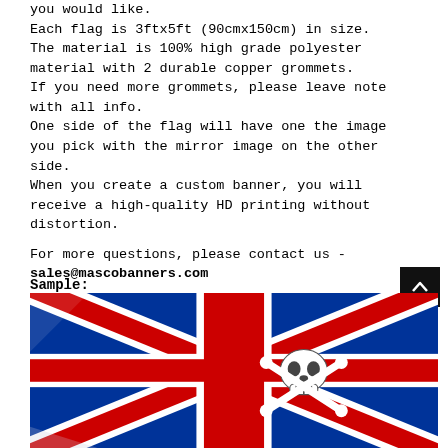you would like.
Each flag is 3ftx5ft (90cmx150cm) in size.
The material is 100% high grade polyester material with 2 durable copper grommets.
If you need more grommets, please leave note with all info.
One side of the flag will have one the image you pick with the mirror image on the other side.
When you create a custom banner, you will receive a high-quality HD printing without distortion.

For more questions, please contact us -
sales@mascobanners.com
Sample:
[Figure (photo): A Union Jack (UK flag) with a skull and crossbones graphic, partially visible at the bottom of the page.]